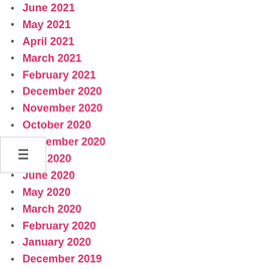June 2021
May 2021
April 2021
March 2021
February 2021
December 2020
November 2020
October 2020
September 2020
July 2020
June 2020
May 2020
March 2020
February 2020
January 2020
December 2019
October 2019
September 2019
July 2019